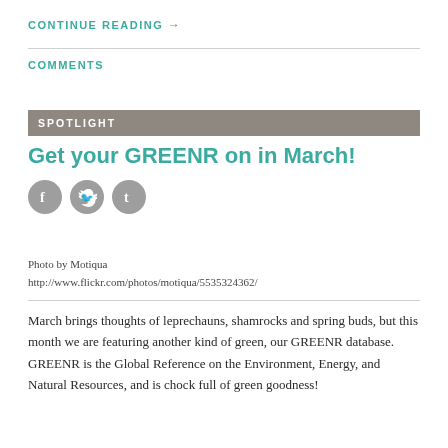CONTINUE READING →
COMMENTS
SPOTLIGHT
Get your GREENR on in March!
[Figure (illustration): Social media share icons: Facebook, Twitter, Tumblr]
Photo by Motiqua
http://www.flickr.com/photos/motiqua/5535324362/
March brings thoughts of leprechauns, shamrocks and spring buds, but this month we are featuring another kind of green, our GREENR database. GREENR is the Global Reference on the Environment, Energy, and Natural Resources, and is chock full of green goodness!